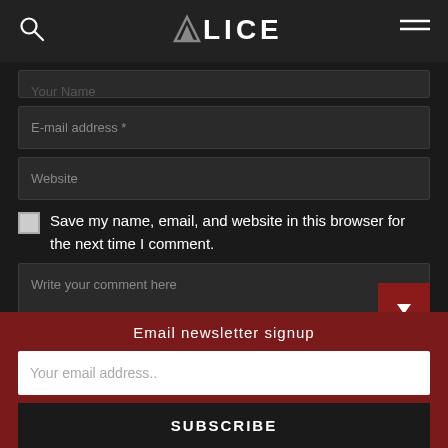ALICE
Your Name
E-mail address *
Website
Save my name, email, and website in this browser for the next time I comment.
Write your comment here
Email newsletter signup
Your email address..
SUBSCRIBE